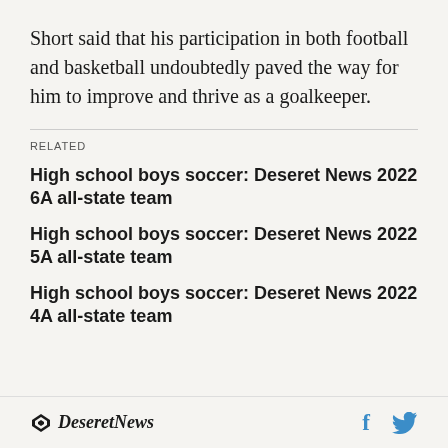Short said that his participation in both football and basketball undoubtedly paved the way for him to improve and thrive as a goalkeeper.
RELATED
High school boys soccer: Deseret News 2022 6A all-state team
High school boys soccer: Deseret News 2022 5A all-state team
High school boys soccer: Deseret News 2022 4A all-state team
Deseret News